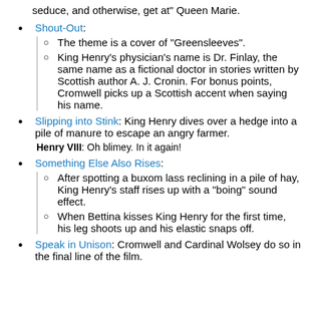seduce, and otherwise, get at" Queen Marie.
Shout-Out:
The theme is a cover of "Greensleeves".
King Henry's physician's name is Dr. Finlay, the same name as a fictional doctor in stories written by Scottish author A. J. Cronin. For bonus points, Cromwell picks up a Scottish accent when saying his name.
Slipping into Stink: King Henry dives over a hedge into a pile of manure to escape an angry farmer.
Henry VIII: Oh blimey. In it again!
Something Else Also Rises:
After spotting a buxom lass reclining in a pile of hay, King Henry's staff rises up with a "boing" sound effect.
When Bettina kisses King Henry for the first time, his leg shoots up and his elastic snaps off.
Speak in Unison: Cromwell and Cardinal Wolsey do so in the final line of the film.